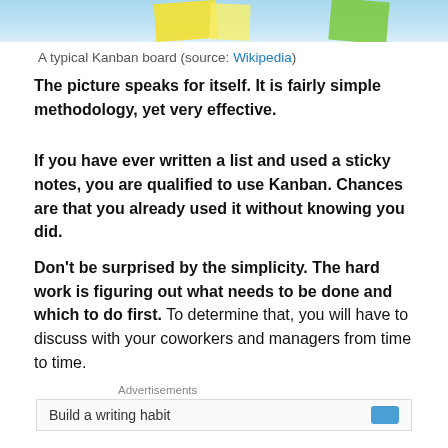[Figure (photo): Top portion of a Kanban board photo showing sticky notes on a board with light blue background — yellow and green sticky notes visible]
A typical Kanban board (source: Wikipedia)
The picture speaks for itself. It is fairly simple methodology, yet very effective.
If you have ever written a list and used a sticky notes, you are qualified to use Kanban. Chances are that you already used it without knowing you did.
Don't be surprised by the simplicity. The hard work is figuring out what needs to be done and which to do first. To determine that, you will have to discuss with your coworkers and managers from time to time.
Advertisements
Build a writing habit